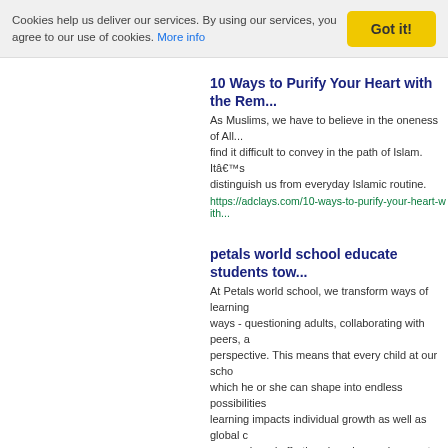Cookies help us deliver our services. By using our services, you agree to our use of cookies. More info
Got it!
10 Ways to Purify Your Heart with the Rem...
As Muslims, we have to believe in the oneness of All... find it difficult to convey in the path of Islam. Itâ€™s distinguish us from everyday Islamic routine.
https://adclays.com/10-ways-to-purify-your-heart-with...
petals world school educate students tow...
At Petals world school, we transform ways of learning ways - questioning adults, collaborating with peers, a perspective. This means that every child at our scho which he or she can shape into endless possibilities learning impacts individual growth as well as global c approach and effortless learning environment that he
http://www.petalsworldschool.org/
ÐŸÐ¾Ð´Ð±ÐÐ° Ð”ÐµÐËÐµÐ²ÐÃŒÐ... ÐƒÐ²Ð´
Ð´Ð€ÐµÐ´ÐÂ±Ð€ÐµÐ´Ð²ÐÆ’Ð...
https://consolidator.su/rossiya/aviabilety-vladivostok-...
Petunjuk Daftar Situs Bandar Togel Onlin... tergabung dalam website bandar togel pa...
Sesudah mengerti bervariasi kelebihan dan keluasa ditandaskan ketarik dan mendambakan bisa masuk pada website bandar togel bisa dipercaya ini, semu